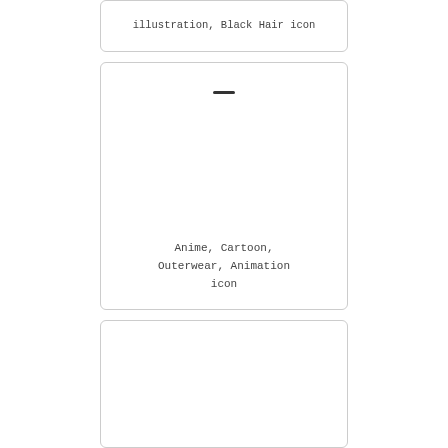[Figure (illustration): Partial card at top showing cropped text: 'illustration, Black Hair icon']
illustration, Black Hair icon
[Figure (illustration): Card with a small dash/line near the top and caption text: Anime, Cartoon, Outerwear, Animation icon]
Anime, Cartoon, Outerwear, Animation icon
[Figure (illustration): Empty card at the bottom, no visible content]